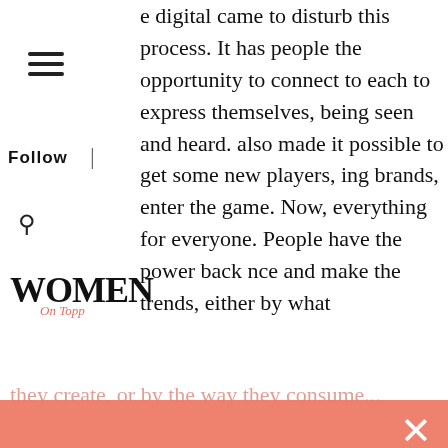e digital came to disturb this process. It has people the opportunity to connect to each to express themselves, being seen and heard. also made it possible to get some new players, ing brands, enter the game. Now, everything for everyone. People have the power back nce and make the trends, either by what they create, or by the way they consume
[Figure (logo): Women On Topp logo with hamburger menu, Follow label, search icon]
Subscribe & Become Successful
receive our newsletters and updates by email
We use cookies to ensure that we give you the best experience on our website. If you continue to use this site we will assume that you are happy with it.
Ok
No
Privacy policy